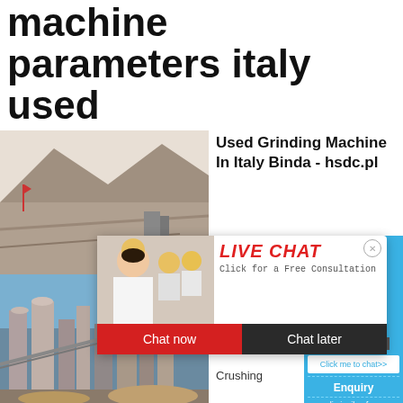machine parameters italy used
[Figure (photo): Quarry/mining site with mountains in background, industrial equipment visible]
Used Grinding Machine In Italy Binda - hsdc.pl
[Figure (screenshot): Live chat popup overlay with engineer photo, LIVE CHAT text in red italic, 'Click for a Free Consultation' subtitle, Chat now (red) and Chat later (dark) buttons]
[Figure (photo): Sidebar with industrial crusher machine image on blue background, hour online text, Click me to chat>> button, Enquiry section, limingjlmofen link]
[Figure (photo): Industrial crushing/grinding plant with multiple silos and equipment]
Grinding Italy Crushing osusza
Crushing